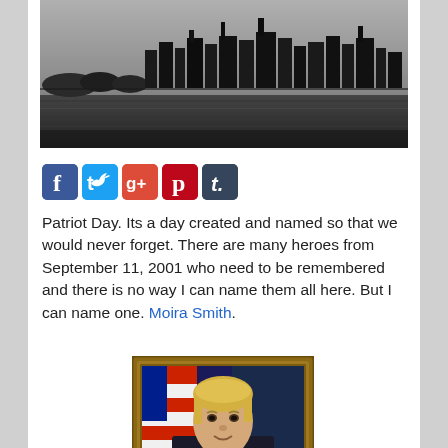[Figure (photo): Black and white photo of New York City skyline across water]
[Figure (infographic): Social media share icons: Facebook, Twitter, Google+, Pinterest, Tumblr]
Patriot Day. Its a day created and named so that we would never forget. There are many heroes from September 11, 2001 who need to be remembered and there is no way I can name them all here. But I can name one. Moira Smith.
[Figure (photo): Portrait photo of Moira Smith in police uniform with American flag background, in a brown frame]